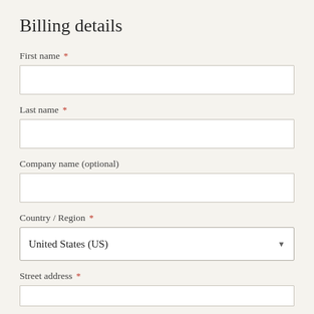Billing details
First name *
Last name *
Company name (optional)
Country / Region *
United States (US)
Street address *